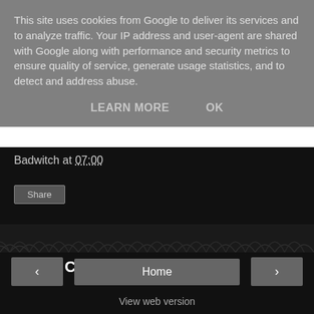This site uses cookies from Google to deliver its services and to analyze traffic. Your IP address and user-agent are shared with Google along with performance and security metrics to ensure quality of service, generate usage statistics, and to detect and address abuse.
LEARN MORE    OK
Badwitch at 07:00
Share
No comments:
Post a Comment
‹    Home    ›
View web version